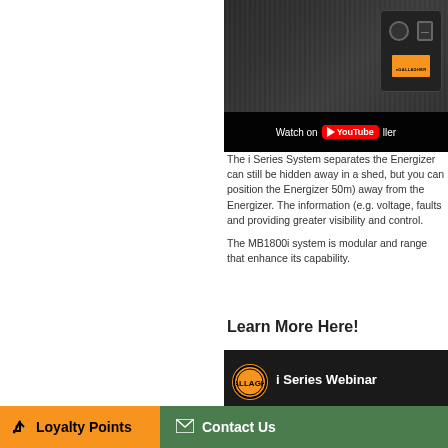[Figure (screenshot): YouTube video embed showing a Gallagher electric fence energizer device with 'Watch on YouTube' overlay bar]
The i Series System separates the Energizer can still be hidden away in a shed, but you can position the Energizer 50m) away from the Energizer. The information (e.g. voltage, faults and providing greater visibility and control.
The MB1800i system is modular and range that enhance its capability.
Learn More Here!
[Figure (screenshot): Video thumbnail showing Gallagher i Series Webinar with orange Gallagher logo circle on dark background]
Loyalty Points
Contact Us